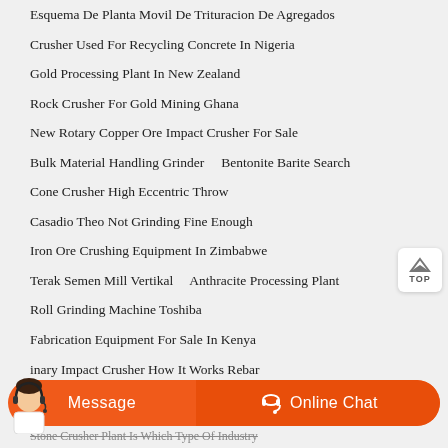Esquema De Planta Movil De Trituracion De Agregados
Crusher Used For Recycling Concrete In Nigeria
Gold Processing Plant In New Zealand
Rock Crusher For Gold Mining Ghana
New Rotary Copper Ore Impact Crusher For Sale
Bulk Material Handling Grinder    Bentonite Barite Search
Cone Crusher High Eccentric Throw
Casadio Theo Not Grinding Fine Enough
Iron Ore Crushing Equipment In Zimbabwe
Terak Semen Mill Vertikal    Anthracite Processing Plant
Roll Grinding Machine Toshiba
Fabrication Equipment For Sale In Kenya
inary Impact Crusher How It Works Rebar
Stone Crusher Plant Is Which Type Of Industry